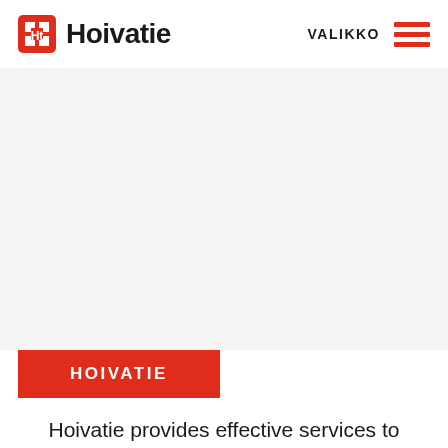Hoivatie | VALIKKO
[Figure (logo): Hoivatie logo with red square icon containing white 'Ht' letters, followed by bold text 'Hoivatie']
[Figure (photo): Large white/light hero image area]
HOIVATIE
Hoivatie provides effective services to